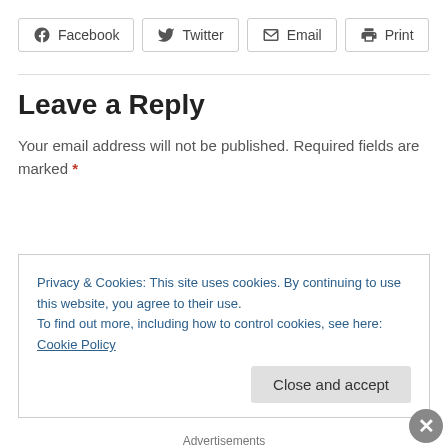[Figure (other): Share buttons row: Facebook, Twitter, Email, Print]
Leave a Reply
Your email address will not be published. Required fields are marked *
Privacy & Cookies: This site uses cookies. By continuing to use this website, you agree to their use.
To find out more, including how to control cookies, see here: Cookie Policy
Advertisements